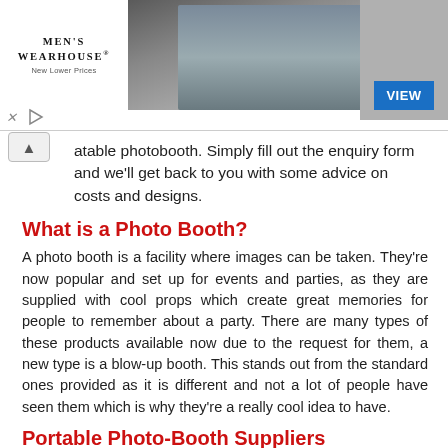[Figure (screenshot): Men's Wearhouse advertisement banner with couple in formal wear, man in suit model on right, and blue VIEW button]
...atable photobooth. Simply fill out the enquiry form and we'll get back to you with some advice on costs and designs.
What is a Photo Booth?
A photo booth is a facility where images can be taken. They're now popular and set up for events and parties, as they are supplied with cool props which create great memories for people to remember about a party. There are many types of these products available now due to the request for them, a new type is a blow-up booth. This stands out from the standard ones provided as it is different and not a lot of people have seen them which is why they're a really cool idea to have.
Portable Photo-Booth Suppliers
Based within the UK we are the premium portable photo-booth suppliers not just within the United Kingdom but worldwide and we regularly supply these materials in the USA, Australia, New Zealand and in many countries throughout the world...